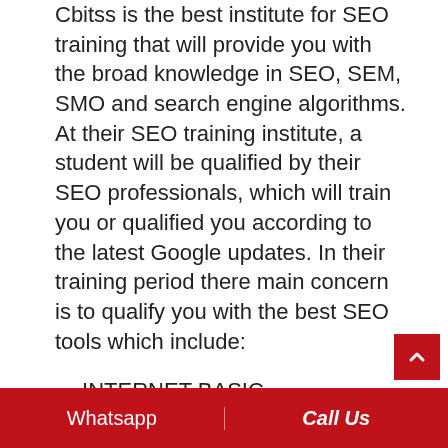Cbitss is the best institute for SEO training that will provide you with the broad knowledge in SEO, SEM, SMO and search engine algorithms. At their SEO training institute, a student will be qualified by their SEO professionals, which will train you or qualified you according to the latest Google updates. In their training period there main concern is to qualify you with the best SEO tools which include:
INTERNET BASIC INTRODUCTION
SEO BASIC
Google Algorithm Updates
Selection of keyword or keyword analysis
Introduction about link building
SEO RESEARCH & ANALYSIS etc.
Contact them – SCO: 23-24-25, Sector 34A,
Whatsapp | Call Us